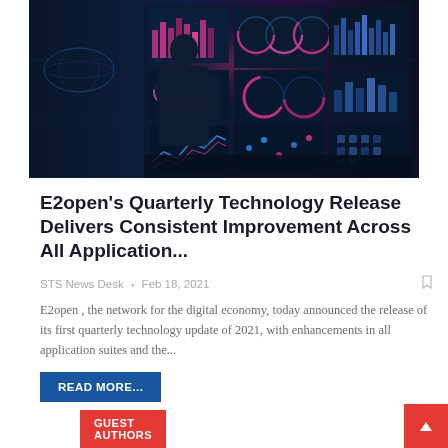[Figure (photo): Man in suit standing with arms crossed viewing multiple digital dashboard screens showing charts, graphs and data visualizations with blue and purple lighting]
E2open's Quarterly Technology Release Delivers Consistent Improvement Across All Application...
STS News Desk  ·  Feb 18, 2021
E2open , the network for the digital economy, today announced the release of its first quarterly technology update of 2021, with enhancements in all application suites and the...
READ MORE...
GUEST AUTHORS